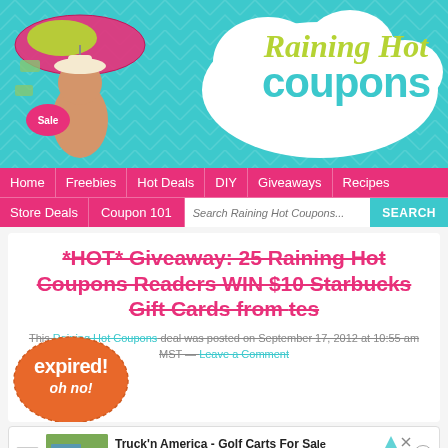[Figure (logo): Raining Hot Coupons website header banner with teal chevron background, cartoon woman with umbrella and falling money, white cloud shape with brand name]
Home | Freebies | Hot Deals | DIY | Giveaways | Recipes | Store Deals | Coupon 101 | Search Raining Hot Coupons... | SEARCH
*HOT* Giveaway: 25 Raining Hot Coupons Readers WIN $10 Starbucks Gift Cards from [expired]
This Raining Hot Coupons deal was posted on September 17, 2012 at 10:55 am MST — Leave a Comment
[Figure (other): Orange cloud-shaped 'expired! oh no!' badge overlaid on the post title]
[Figure (other): Ad: Truck'n America - Golf Carts For Sale, trucknamerica.com, Visit Site button with photo of golf cart]